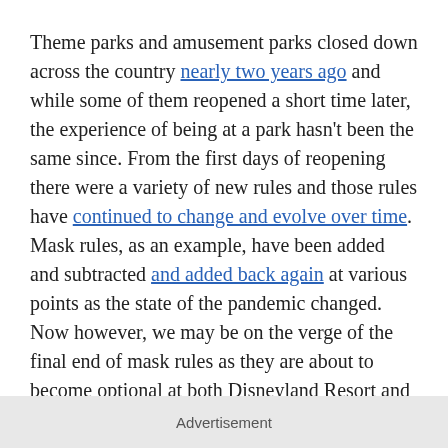Theme parks and amusement parks closed down across the country nearly two years ago and while some of them reopened a short time later, the experience of being at a park hasn't been the same since. From the first days of reopening there were a variety of new rules and those rules have continued to change and evolve over time. Mask rules, as an example, have been added and subtracted and added back again at various points as the state of the pandemic changed. Now however, we may be on the verge of the final end of mask rules as they are about to become optional at both Disneyland Resort and Walt Disney World.
Advertisement